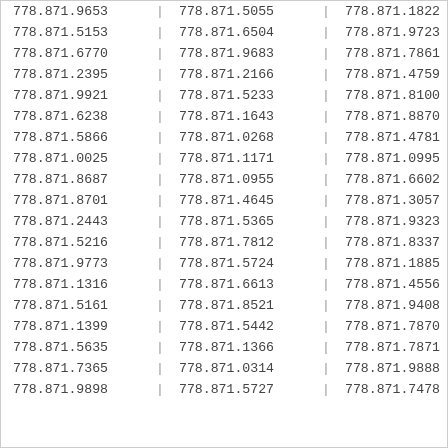| col1 | sep1 | col2 | sep2 | col3 | sep3 |
| --- | --- | --- | --- | --- | --- |
| 778.871.9653 | | | 778.871.5055 | | | 778.871.1822 | | |
| 778.871.5153 | | | 778.871.6504 | | | 778.871.9723 | | |
| 778.871.6770 | | | 778.871.9683 | | | 778.871.7861 | | |
| 778.871.2395 | | | 778.871.2166 | | | 778.871.4759 | | |
| 778.871.9921 | | | 778.871.5233 | | | 778.871.8100 | | |
| 778.871.6238 | | | 778.871.1643 | | | 778.871.8870 | | |
| 778.871.5866 | | | 778.871.0268 | | | 778.871.4781 | | |
| 778.871.0025 | | | 778.871.1171 | | | 778.871.0995 | | |
| 778.871.8687 | | | 778.871.0955 | | | 778.871.6602 | | |
| 778.871.8701 | | | 778.871.4645 | | | 778.871.3057 | | |
| 778.871.2443 | | | 778.871.5365 | | | 778.871.9323 | | |
| 778.871.5216 | | | 778.871.7812 | | | 778.871.8337 | | |
| 778.871.9773 | | | 778.871.5724 | | | 778.871.1885 | | |
| 778.871.1316 | | | 778.871.6613 | | | 778.871.4556 | | |
| 778.871.5161 | | | 778.871.8521 | | | 778.871.9408 | | |
| 778.871.1399 | | | 778.871.5442 | | | 778.871.7870 | | |
| 778.871.5635 | | | 778.871.1366 | | | 778.871.7871 | | |
| 778.871.7365 | | | 778.871.0314 | | | 778.871.9888 | | |
| 778.871.9898 | | | 778.871.5727 | | | 778.871.7478 | | |